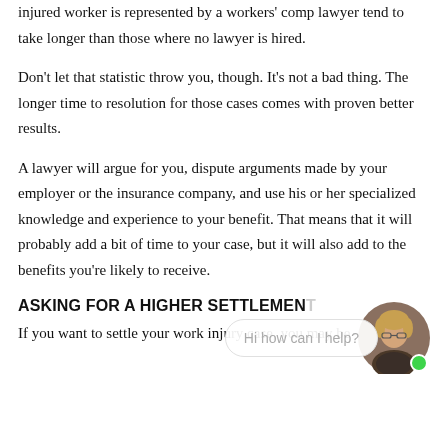injured worker is represented by a workers' comp lawyer tend to take longer than those where no lawyer is hired.
Don't let that statistic throw you, though. It's not a bad thing. The longer time to resolution for those cases comes with proven better results.
A lawyer will argue for you, dispute arguments made by your employer or the insurance company, and use his or her specialized knowledge and experience to your benefit. That means that it will probably add a bit of time to your case, but it will also add to the benefits you're likely to receive.
ASKING FOR A HIGHER SETTLEMENT
If you want to settle your work injury case, you may be